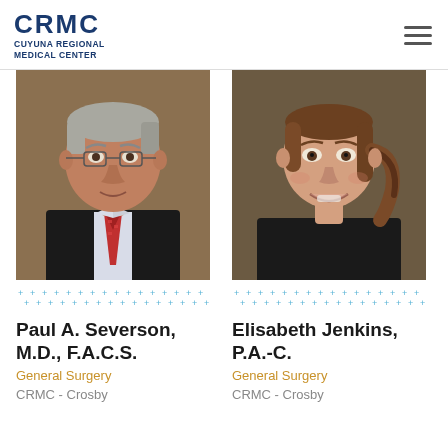CRMC Cuyuna Regional Medical Center
[Figure (photo): Professional headshot of Paul A. Severson, M.D., F.A.C.S. — middle-aged man in dark suit and red patterned tie, gray hair, brown background]
Paul A. Severson, M.D., F.A.C.S.
General Surgery
CRMC - Crosby
[Figure (photo): Professional headshot of Elisabeth Jenkins, P.A.-C. — young woman with brown hair pulled back, dark jacket, brown background, smiling]
Elisabeth Jenkins, P.A.-C.
General Surgery
CRMC - Crosby